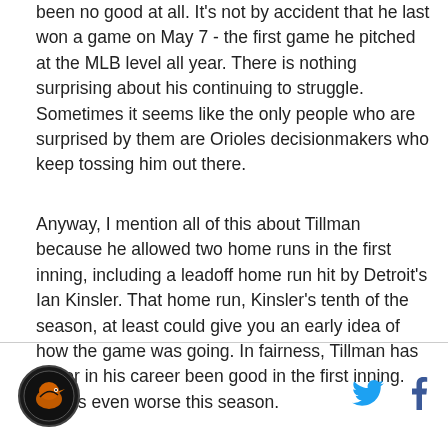been no good at all. It's not by accident that he last won a game on May 7 - the first game he pitched at the MLB level all year. There is nothing surprising about his continuing to struggle. Sometimes it seems like the only people who are surprised by them are Orioles decisionmakers who keep tossing him out there.
Anyway, I mention all of this about Tillman because he allowed two home runs in the first inning, including a leadoff home run hit by Detroit's Ian Kinsler. That home run, Kinsler's tenth of the season, at least could give you an early idea of how the game was going. In fairness, Tillman has never in his career been good in the first inning. This is even worse this season.
[Figure (logo): Circular logo with dark background and orange/red bird graphic]